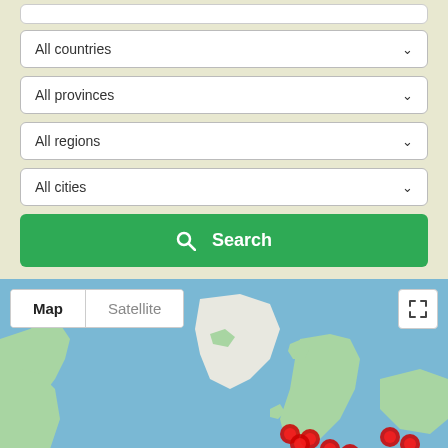[Figure (screenshot): Partial white input box at top]
All countries
All provinces
All regions
All cities
Search
[Figure (map): Google Maps view showing world map with Map/Satellite toggle buttons, fullscreen button, and red location pin markers clustered around Europe/Atlantic region]